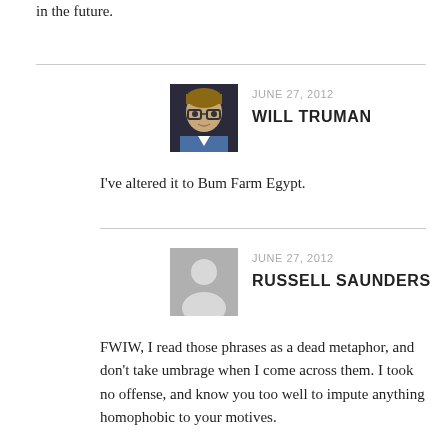in the future.
JUNE 27, 2012
WILL TRUMAN
I've altered it to Bum Farm Egypt.
JUNE 27, 2012
RUSSELL SAUNDERS
FWIW, I read those phrases as a dead metaphor, and don't take umbrage when I come across them. I took no offense, and know you too well to impute anything homophobic to your motives.